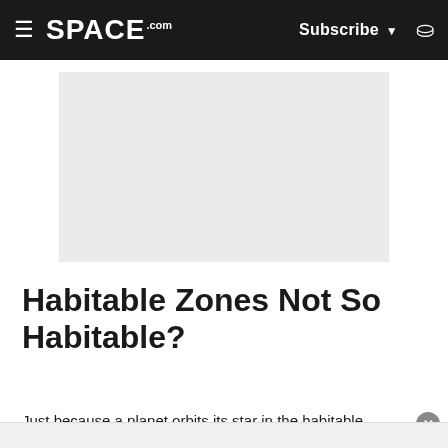SPACE.com — Subscribe — Search
[Figure (other): Advertisement placeholder — light gray rectangle]
Habitable Zones Not So Habitable?
Just because a planet orbits its star in the habitable